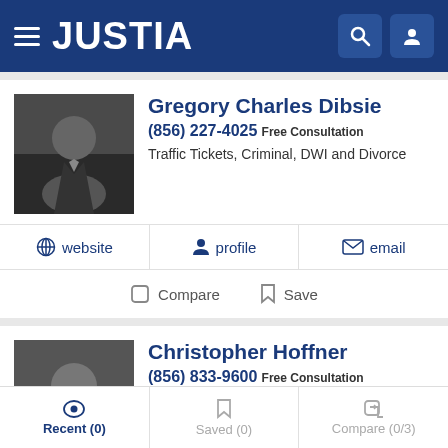JUSTIA
Gregory Charles Dibsie
(856) 227-4025 Free Consultation
Traffic Tickets, Criminal, DWI and Divorce
website | profile | email
Compare | Save
Christopher Hoffner
(856) 833-9600 Free Consultation
Traffic Tickets, Criminal, Insurance Claims and Personal Inj...
website | profile
Recent (0) | Saved (0) | Compare (0/3)